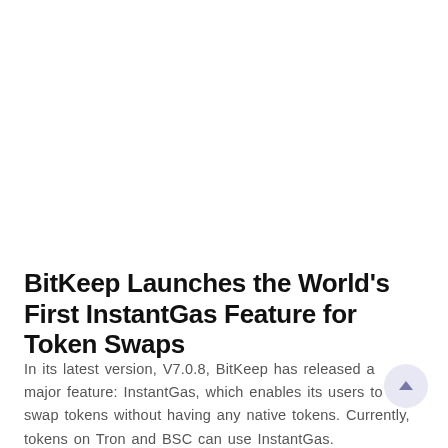BitKeep Launches the World's First InstantGas Feature for Token Swaps
In its latest version, V7.0.8, BitKeep has released a major feature: InstantGas, which enables its users to swap tokens without having any native tokens. Currently, tokens on Tron and BSC can use InstantGas.